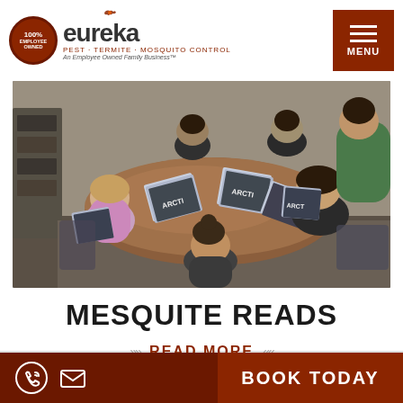[Figure (logo): Eureka logo with 100% employee owned badge, eureka text, and tagline 'An Employee Owned Family Business']
[Figure (other): Dark brown menu button with three horizontal lines and MENU label]
[Figure (photo): Students sitting around a round table in a classroom, each holding a book or magazine, reading together]
MESQUITE READS
READ MORE
[Figure (other): Footer bar with phone icon, email icon on dark brown background, and BOOK TODAY button]
BOOK TODAY